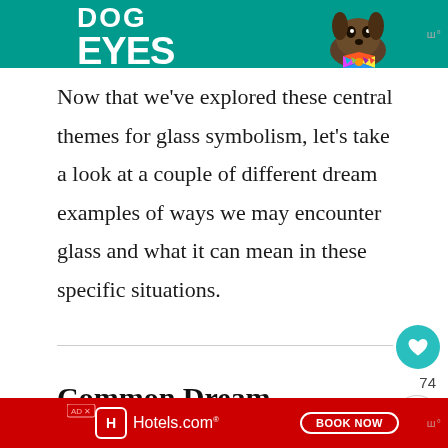[Figure (photo): Advertisement banner with teal/green background showing 'DOG EYES' text in bold white letters and a dog wearing a colorful bow tie on the right side. Small Mediavine logo watermark on the far right.]
Now that we've explored these central themes for glass symbolism, let's take a look at a couple of different dream examples of ways we may encounter glass and what it can mean in these specific situations.
Common Dream Examples
[Figure (photo): Advertisement banner in red for Hotels.com with 'BOOK NOW' button and Mediavine watermark.]